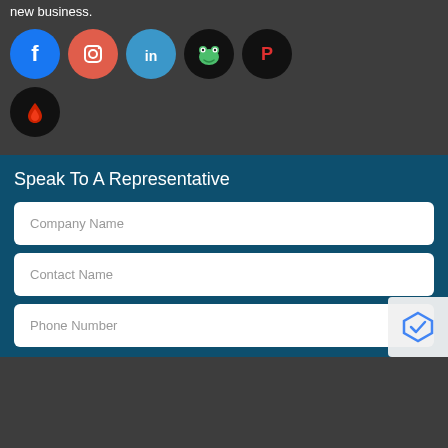new business.
[Figure (infographic): Row of social media icon circles: Facebook (blue), Instagram (red/salmon), LinkedIn (light blue), Froggy/Gab (black with green frog), Parler (black with red P logo)]
[Figure (infographic): Single social media icon circle: Fire/Rumble style app (black with red flame/drop shape)]
Speak To A Representative
Company Name
Contact Name
Phone Number